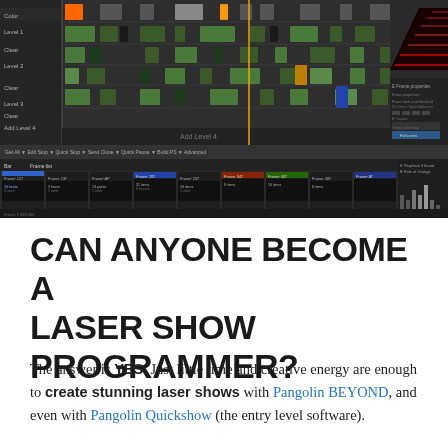[Figure (screenshot): Screenshot of Pangolin BEYOND laser show software interface showing a timeline/sequence editor with green and colored blocks on dark background, plus a frame browser panel below with thumbnail previews of laser frames.]
CAN ANYONE BECOME A LASER SHOW PROGRAMMER?
The answer is YES. Just little time and creative energy are enough to create stunning laser shows with Pangolin BEYOND, and even with Pangolin Quickshow (the entry level software).